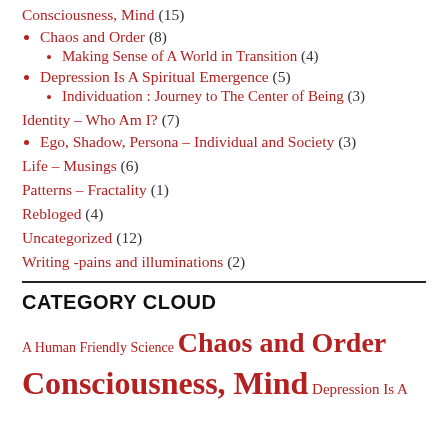Consciousness, Mind (15)
Chaos and Order (8)
Making Sense of A World in Transition (4)
Depression Is A Spiritual Emergence (5)
Individuation : Journey to The Center of Being (3)
Identity – Who Am I? (7)
Ego, Shadow, Persona – Individual and Society (3)
Life – Musings (6)
Patterns – Fractality (1)
Rebloged (4)
Uncategorized (12)
Writing -pains and illuminations (2)
CATEGORY CLOUD
A Human Friendly Science Chaos and Order Consciousness, Mind Depression Is A